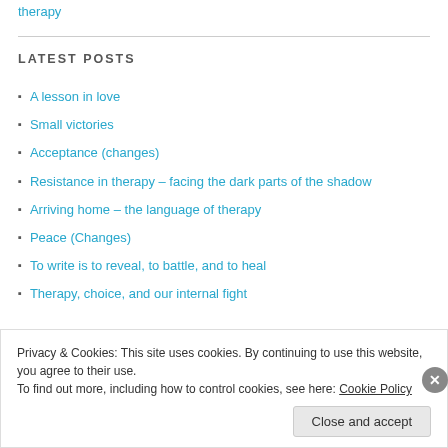therapy
LATEST POSTS
A lesson in love
Small victories
Acceptance (changes)
Resistance in therapy – facing the dark parts of the shadow
Arriving home – the language of therapy
Peace (Changes)
To write is to reveal, to battle, and to heal
Therapy, choice, and our internal fight
Privacy & Cookies: This site uses cookies. By continuing to use this website, you agree to their use. To find out more, including how to control cookies, see here: Cookie Policy